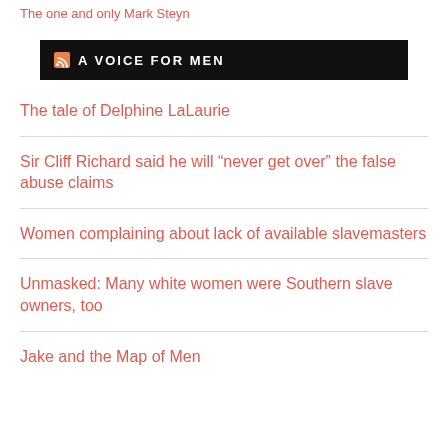The one and only Mark Steyn
[Figure (logo): Black banner with RSS icon and text 'A VOICE FOR MEN']
The tale of Delphine LaLaurie
Sir Cliff Richard said he will “never get over” the false abuse claims
Women complaining about lack of available slavemasters
Unmasked: Many white women were Southern slave owners, too
Jake and the Map of Men